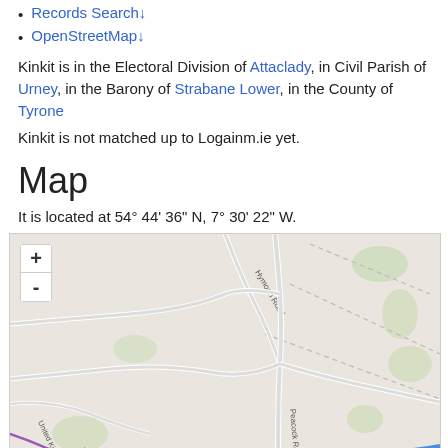Records Search↓
OpenStreetMap↓
Kinkit is in the Electoral Division of Attaclady, in Civil Parish of Urney, in the Barony of Strabane Lower, in the County of Tyrone
Kinkit is not matched up to Logainm.ie yet.
Map
It is located at 54° 44' 36" N, 7° 30' 22" W.
[Figure (map): OpenStreetMap showing Kinkit area with roads including Hymoan Road and Peacock Road, near the United Kingdom/Ulster border, with a blue river/water feature at the bottom right. Zoom controls (+/-) visible in top left.]